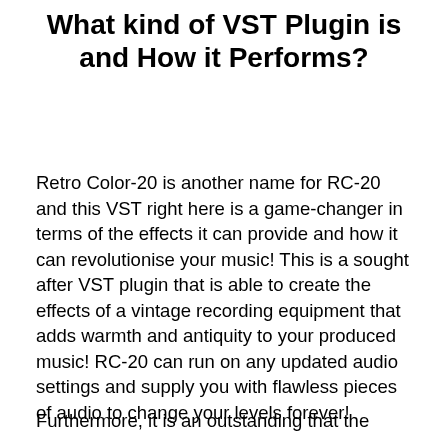What kind of VST Plugin is and How it Performs?
Retro Color-20 is another name for RC-20 and this VST right here is a game-changer in terms of the effects it can provide and how it can revolutionise your music! This is a sought after VST plugin that is able to create the effects of a vintage recording equipment that adds warmth and antiquity to your produced music! RC-20 can run on any updated audio settings and supply you with flawless pieces of audio to change your levels forever!
Furthermore, it is an outstanding that the